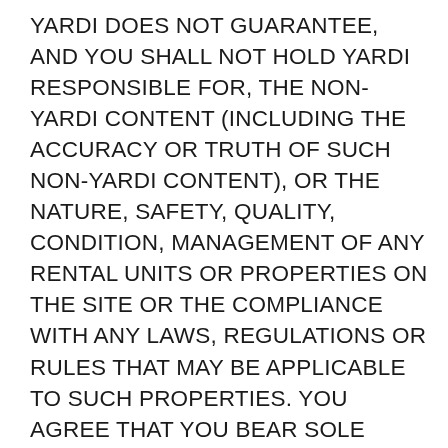YARDI DOES NOT GUARANTEE, AND YOU SHALL NOT HOLD YARDI RESPONSIBLE FOR, THE NON-YARDI CONTENT (INCLUDING THE ACCURACY OR TRUTH OF SUCH NON-YARDI CONTENT), OR THE NATURE, SAFETY, QUALITY, CONDITION, MANAGEMENT OF ANY RENTAL UNITS OR PROPERTIES ON THE SITE OR THE COMPLIANCE WITH ANY LAWS, REGULATIONS OR RULES THAT MAY BE APPLICABLE TO SUCH PROPERTIES. YOU AGREE THAT YOU BEAR SOLE RESPONSIBILITY FOR EVALUATING, AND ARE SOLELY RESPONSIBLE FOR ALL RISKS ASSOCIATED WITH, THE USE OF ANY NON-YARDI CONTENT, AND THAT UNDER NO CIRCUMSTANCES WILL YARDI BE LIABLE FOR ANY NON-YARDI CONTENT OR FOR ANY DAMAGE OR LOSS OF ANY KIND INCURRED AS A RESULT OF THE USE OF ANY NON-YARDI CONTENT.